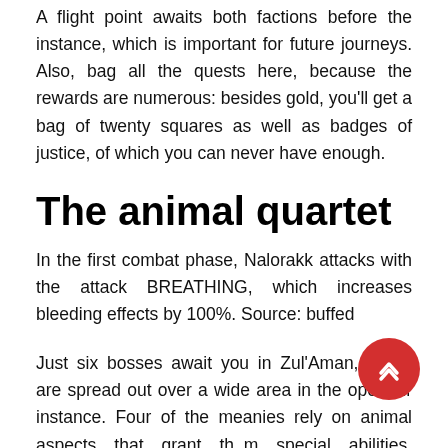A flight point awaits both factions before the instance, which is important for future journeys. Also, bag all the quests here, because the rewards are numerous: besides gold, you'll get a bag of twenty squares as well as badges of justice, of which you can never have enough.
The animal quartet
In the first combat phase, Nalorakk attacks with the attack BREATHING, which increases bleeding effects by 100%. Source: buffed
Just six bosses await you in Zul'Aman, which are spread out over a wide area in the open-air instance. Four of the meanies rely on animal aspects that grant them special abilities. Nalorakk is the lord of the bears. Can withstand a lot, distributes bleeding effects and strikes with a brutal paw strike. In addition, he charges random players. Akil'zon is an eagle god who uses lightning and